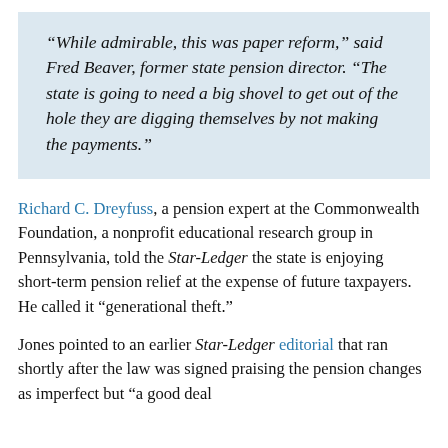“While admirable, this was paper reform,” said Fred Beaver, former state pension director. “The state is going to need a big shovel to get out of the hole they are digging themselves by not making the payments.”
Richard C. Dreyfuss, a pension expert at the Commonwealth Foundation, a nonprofit educational research group in Pennsylvania, told the Star-Ledger the state is enjoying short-term pension relief at the expense of future taxpayers. He called it “generational theft.”
Jones pointed to an earlier Star-Ledger editorial that ran shortly after the law was signed praising the pension changes as imperfect but “a good deal